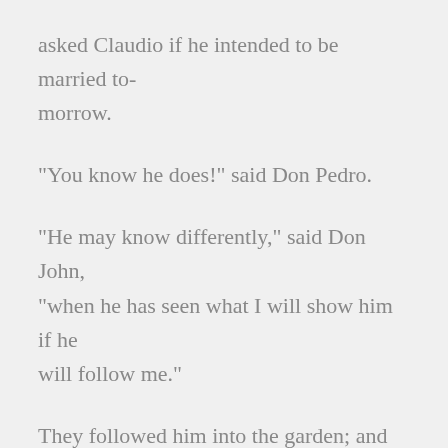asked Claudio if he intended to be married tomorrow.
"You know he does!" said Don Pedro.
"He may know differently," said Don John, "when he has seen what I will show him if he will follow me."
They followed him into the garden; and they saw a lady leaning out of Hero's window talking love to Borachio.